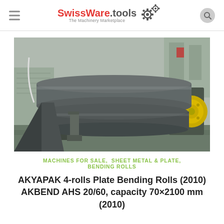SwissWare.tools — The Machinery Marketplace
[Figure (photo): Industrial 4-rolls plate bending machine (AKYAPAK AKBEND AHS 20/60) photographed in a workshop setting. The machine is large and heavy-duty, with visible metal rollers and a yellow end plate/disk on the right side. The machine is grey/dark colored with industrial wear.]
MACHINES FOR SALE, SHEET METAL & PLATE, BENDING ROLLS
AKYAPAK 4-rolls Plate Bending Rolls (2010) AKBEND AHS 20/60, capacity 70×2100 mm (2010)